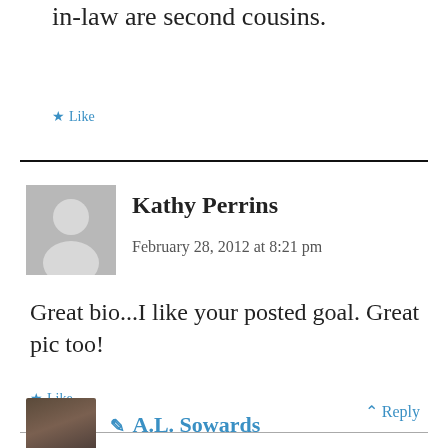in-law are second cousins.
★ Like
Kathy Perrins
February 28, 2012 at 8:21 pm
Great bio...I like your posted goal. Great pic too!
★ Like
^ Reply
✏ A.L. Sowards